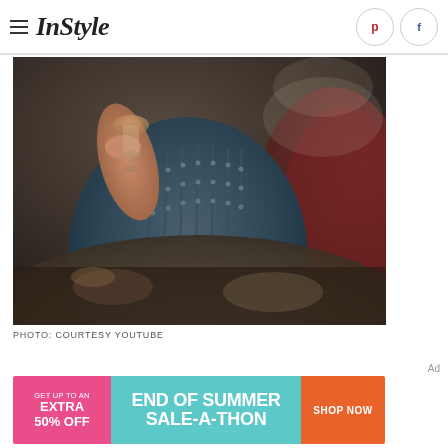InStyle
[Figure (photo): Close-up photo of a woman wearing a dark embellished/beaded top, holding a wine glass at what appears to be a dinner setting]
PHOTO: COURTESY YOUTUBE
Ad
[Figure (infographic): Advertisement banner: GET UP TO AN EXTRA 50% OFF | END OF SUMMER SALE-A-THON | SHOP NOW]